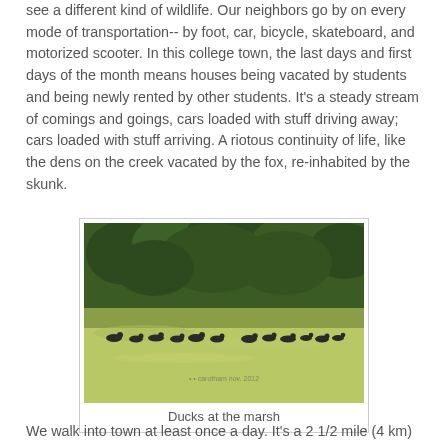see a different kind of wildlife. Our neighbors go by on every mode of transportation-- by foot, car, bicycle, skateboard, and motorized scooter. In this college town, the last days and first days of the month means houses being vacated by students and being newly rented by other students. It's a steady stream of comings and goings, cars loaded with stuff driving away; cars loaded with stuff arriving. A riotous continuity of life, like the dens on the creek vacated by the fox, re-inhabited by the skunk.
[Figure (photo): Photograph of ducks swimming on a green marsh with dense green trees in the background.]
Ducks at the marsh
We walk into town at least once a day. It's a 2 1/2 mile (4 km)